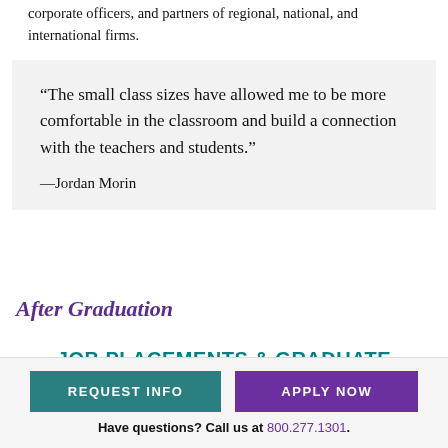corporate officers, and partners of regional, national, and international firms.
“The small class sizes have allowed me to be more comfortable in the classroom and build a connection with the teachers and students.”
—Jordan Morin
After Graduation
JOB PLACEMENTS & GRADUATE PROGRAMS
REQUEST INFO
APPLY NOW
Have questions? Call us at 800.277.1301.